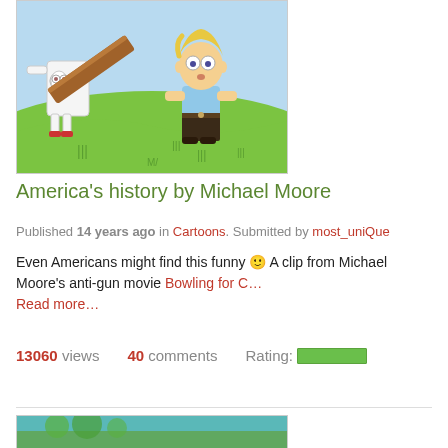[Figure (illustration): Cartoon illustration showing two animated characters on a green lawn — a white figure with eyes carrying a brown plank/cross, and a blonde boy in a blue shirt looking surprised.]
America's history by Michael Moore
Published 14 years ago in Cartoons. Submitted by most_uniQue
Even Americans might find this funny 🙂 A clip from Michael Moore's anti-gun movie Bowling for C… Read more…
13060 views   40 comments   Rating:
[Figure (photo): Partial image visible at bottom of page, appears to be a beach or tropical scene.]